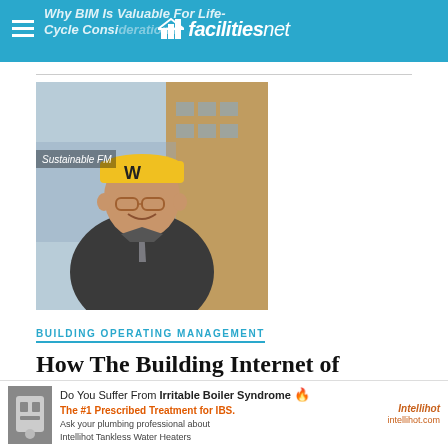facilitiesnet | Why BIM Is Valuable For Life-Cycle Considerations
[Figure (photo): Man in yellow hard hat with 'W' logo, wearing suit and tie, standing in front of a construction site. 'Sustainable FM' label in top left corner of photo.]
BUILDING OPERATING MANAGEMENT
How The Building Internet of Things Works For WMU
NEWS
[Figure (infographic): Advertisement: Do You Suffer From Irritable Boiler Syndrome. The #1 Prescribed Treatment for IBS. Ask your plumbing professional about Intellihot Tankless Water Heaters. intellihot.com]